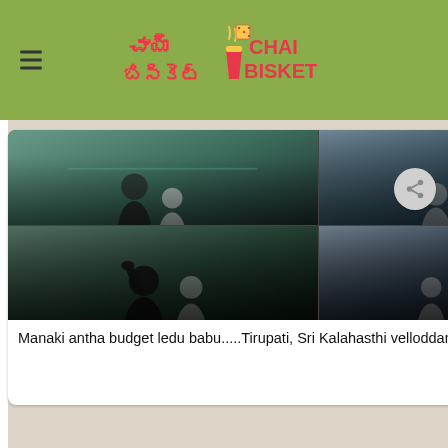Chai Bisket
[Figure (screenshot): WhatsApp message screenshot showing a movie scene collage image with text 'Manaki antha budget ledu babu.....Tirupati, Sri Kalahasthi velloddam' and timestamp 12:01]
Manaki antha budget ledu babu.....Tirupati, Sri Kalahasthi velloddam